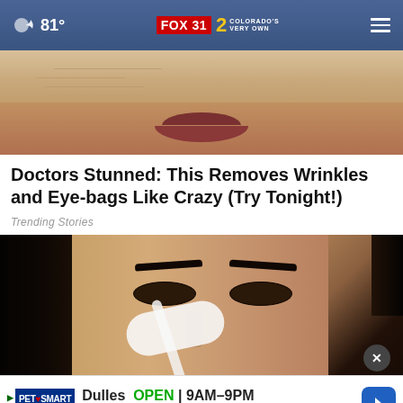FOX 31 2 COLORADO'S VERY OWN | 81°
[Figure (photo): Close-up photograph of a person's lower face showing skin texture near lips]
Doctors Stunned: This Removes Wrinkles and Eye-bags Like Crazy (Try Tonight!)
Trending Stories
[Figure (photo): Young woman with dark hair holding a cotton pad applicator near her eye area]
Dulles  OPEN | 9AM–9PM  24570 Dulles Landing Drive ..